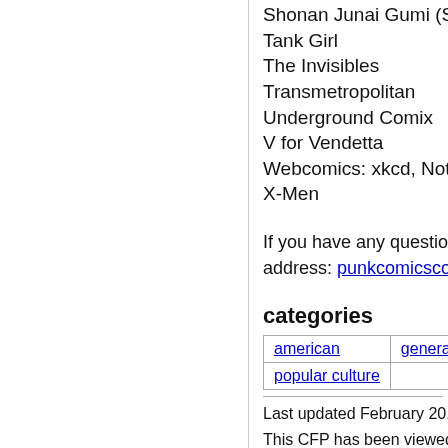Shonan Junai Gumi (Sho...
Tank Girl
The Invisibles
Transmetropolitan
Underground Comix
V for Vendetta
Webcomics: xkcd, Nothin...
X-Men
If you have any question... address: punkcomicscoll...
categories
| american | general announce... |
| popular culture |  |
Last updated February 20, 2014
This CFP has been viewed 1,006 ti...